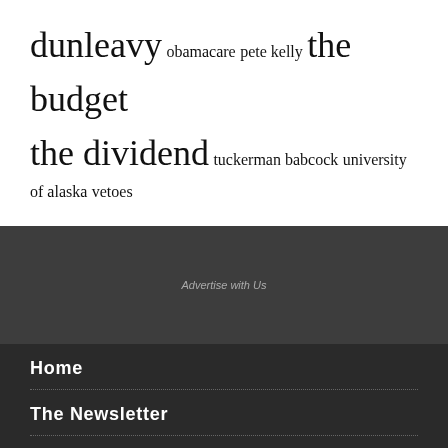dunleavy obamacare pete kelly the budget the dividend tuckerman babcock university of alaska vetoes
Advertise with Us
Home
The Newsletter
State Politics